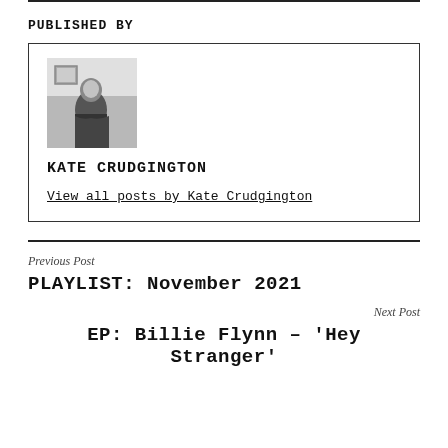PUBLISHED BY
[Figure (photo): Black and white portrait photo of Kate Crudgington]
KATE CRUDGINGTON
View all posts by Kate Crudgington
Previous Post
PLAYLIST: November 2021
Next Post
EP: Billie Flynn – 'Hey Stranger'